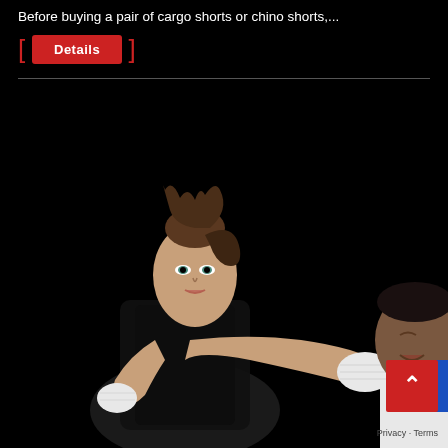Before buying a pair of cargo shorts or chino shorts,...
Details
[Figure (photo): A woman in boxing stance throwing a punch toward a male opponent's face. Both are on a dark/black background. The woman has her hair in a ponytail and is wearing a black tank top with white hand wraps. The male on the right is partially cropped, being struck in the face by her punch.]
Privacy · Terms